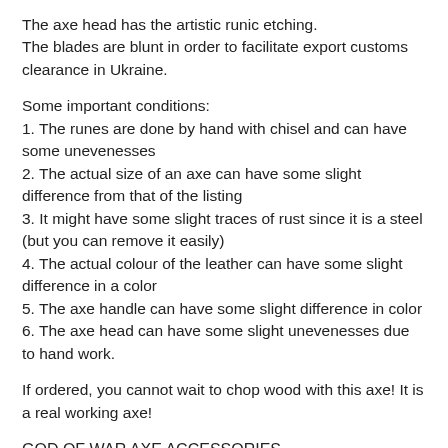The axe head has the artistic runic etching. The blades are blunt in order to facilitate export customs clearance in Ukraine.
Some important conditions:
1. The runes are done by hand with chisel and can have some unevenesses
2. The actual size of an axe can have some slight difference from that of the listing
3. It might have some slight traces of rust since it is a steel (but you can remove it easily)
4. The actual colour of the leather can have some slight difference in a color
5. The axe handle can have some slight difference in color
6. The axe head can have some slight unevenesses due to hand work.
If ordered, you cannot wait to chop wood with this axe! It is a real working axe!
GOD OF WAR AXE ACCESSORIES
You might need some accessories to this axe: an axe holder